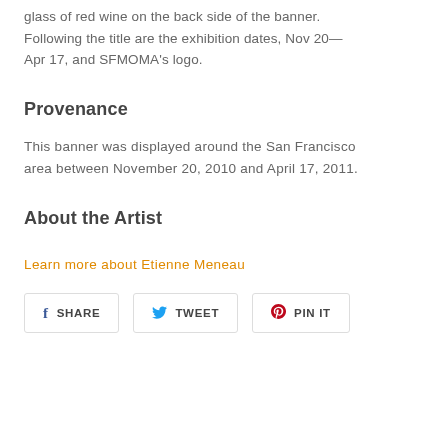glass of red wine on the back side of the banner. Following the title are the exhibition dates, Nov 20—Apr 17, and SFMOMA's logo.
Provenance
This banner was displayed around the San Francisco area between November 20, 2010 and April 17, 2011.
About the Artist
Learn more about Etienne Meneau